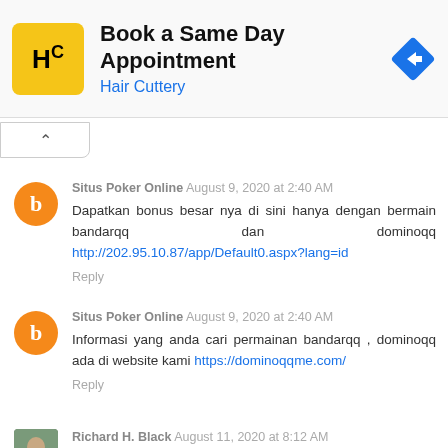[Figure (infographic): Advertisement banner for Hair Cuttery: Book a Same Day Appointment]
Situs Poker Online  August 9, 2020 at 2:40 AM
Dapatkan bonus besar nya di sini hanya dengan bermain bandarqq dan dominoqq http://202.95.10.87/app/Default0.aspx?lang=id
Reply
Situs Poker Online  August 9, 2020 at 2:40 AM
Informasi yang anda cari permainan bandarqq , dominoqq ada di website kami https://dominoqqme.com/
Reply
Richard H. Black  August 11, 2020 at 8:12 AM